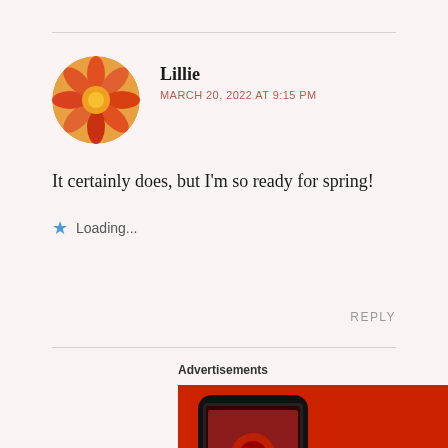[Figure (illustration): Circular avatar with orange flower image for user Lillie]
Lillie
MARCH 20, 2022 AT 9:15 PM
It certainly does, but I’m so ready for spring!
★ Loading...
REPLY
Advertisements
[Figure (illustration): Red advertisement banner for 'Distributed' app with phone mockup and text: An app by listeners, for listeners. Download now]